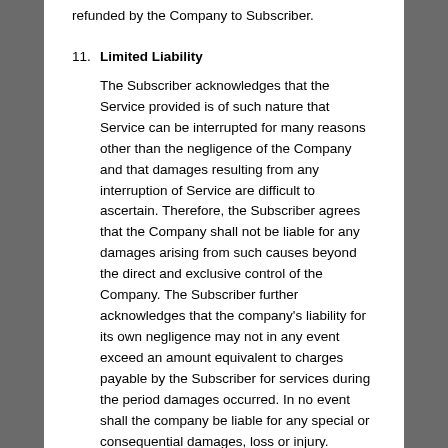refunded by the Company to Subscriber.
11. Limited Liability
The Subscriber acknowledges that the Service provided is of such nature that Service can be interrupted for many reasons other than the negligence of the Company and that damages resulting from any interruption of Service are difficult to ascertain. Therefore, the Subscriber agrees that the Company shall not be liable for any damages arising from such causes beyond the direct and exclusive control of the Company. The Subscriber further acknowledges that the company's liability for its own negligence may not in any event exceed an amount equivalent to charges payable by the Subscriber for services during the period damages occurred. In no event shall the company be liable for any special or consequential damages, loss or injury.
12. Disclosure to Law Enforcement